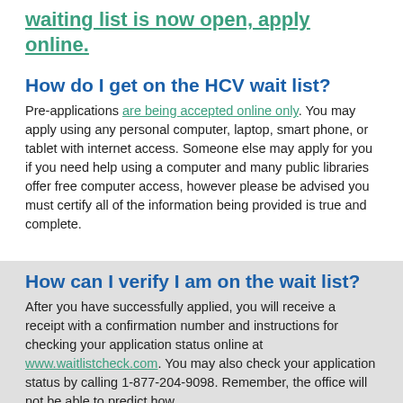waiting list is now open, apply online.
How do I get on the HCV wait list?
Pre-applications are being accepted online only. You may apply using any personal computer, laptop, smart phone, or tablet with internet access. Someone else may apply for you if you need help using a computer and many public libraries offer free computer access, however please be advised you must certify all of the information being provided is true and complete.
How can I verify I am on the wait list?
After you have successfully applied, you will receive a receipt with a confirmation number and instructions for checking your application status online at www.waitlistcheck.com. You may also check your application status by calling 1-877-204-9098. Remember, the office will not be able to predict how